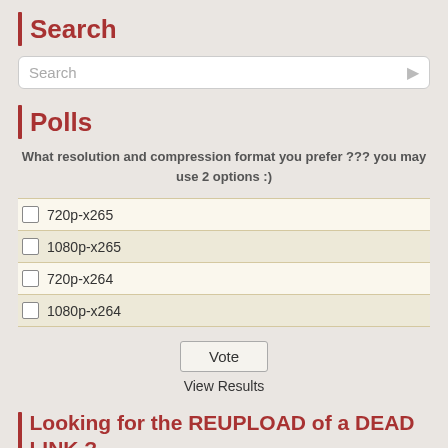Search
Search
Polls
What resolution and compression format you prefer ??? you may use 2 options :)
720p-x265
1080p-x265
720p-x264
1080p-x264
Vote
View Results
Looking for the REUPLOAD of a DEAD LINK ?
If you are looking for the re-upload of a DEAD DOWNLOAD link or non